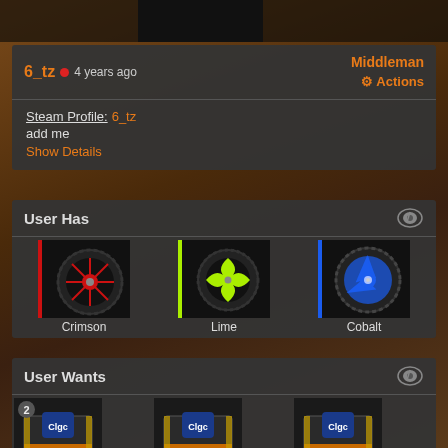[Figure (screenshot): Top partial screenshot of a Rocket League item/car image]
6_tz • 4 years ago
Middleman Actions
Steam Profile: 6_tz
add me
Show Details
User Has
[Figure (photo): Crimson colored Rocket League wheel item]
Crimson
[Figure (photo): Lime colored Rocket League wheel item]
Lime
[Figure (photo): Cobalt colored Rocket League wheel item]
Cobalt
User Wants
[Figure (photo): Rocket League crate/item box x2]
[Figure (photo): Rocket League crate/item box]
[Figure (photo): Rocket League crate/item box]